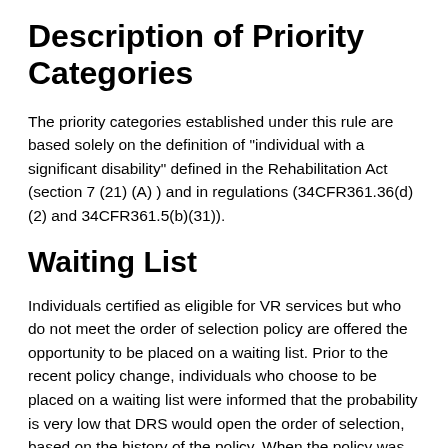Description of Priority Categories
The priority categories established under this rule are based solely on the definition of "individual with a significant disability" defined in the Rehabilitation Act (section 7 (21) (A) ) and in regulations (34CFR361.36(d)(2) and 34CFR361.5(b)(31)).
Waiting List
Individuals certified as eligible for VR services but who do not meet the order of selection policy are offered the opportunity to be placed on a waiting list. Prior to the recent policy change, individuals who choose to be placed on a waiting list were informed that the probability is very low that DRS would open the order of selection, based on the history of the policy. When the policy was